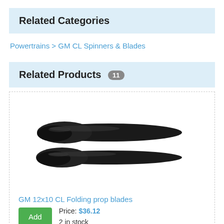Related Categories
Powertrains > GM CL Spinners & Blades
Related Products 11
[Figure (photo): Two black carbon fiber folding propeller blades shown stacked horizontally]
GM 12x10 CL Folding prop blades
Price: $36.12
2 in stock